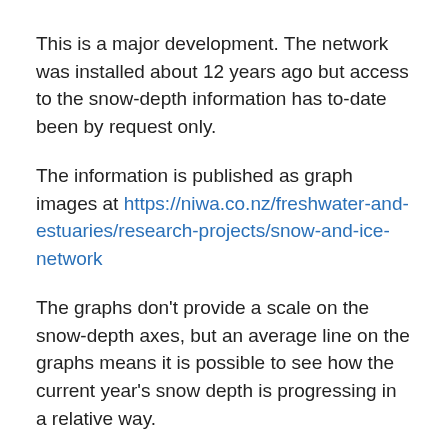This is a major development. The network was installed about 12 years ago but access to the snow-depth information has to-date been by request only.
The information is published as graph images at https://niwa.co.nz/freshwater-and-estuaries/research-projects/snow-and-ice-network
The graphs don't provide a scale on the snow-depth axes, but an average line on the graphs means it is possible to see how the current year's snow depth is progressing in a relative way.
For reference average peak snow depth at Mueller is about 2.5 m, and at Mahanga and Mt Larkins it is about 70 cm.